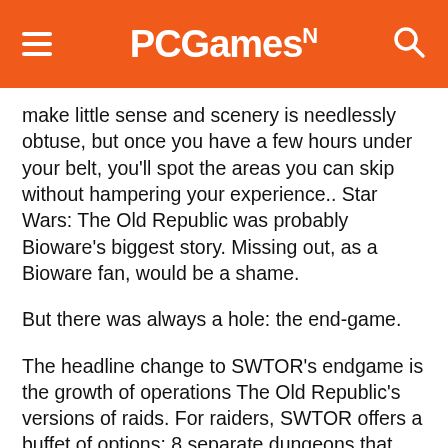PCGamesN
make little sense and scenery is needlessly obtuse, but once you have a few hours under your belt, you'll spot the areas you can skip without hampering your experience.. Star Wars: The Old Republic was probably Bioware's biggest story. Missing out, as a Bioware fan, would be a shame.
But there was always a hole: the end-game.
The headline change to SWTOR's endgame is the growth of operations The Old Republic's versions of raids. For raiders, SWTOR offers a buffet of options: 8 separate dungeons that can be played in standard, hard or nightmare modes, with a toggle to play in groups of eight or 16. Bosses are hard, and imaginative, and that's a good thing. For content that came post-launch with Chapters in